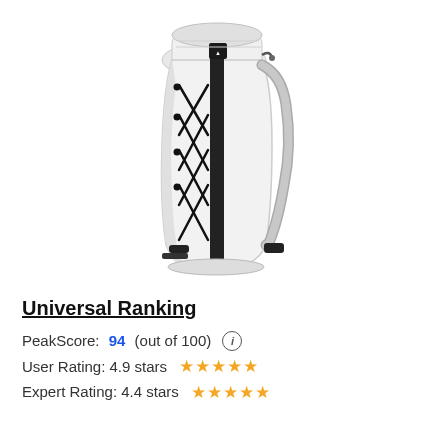[Figure (photo): White ultralight backpack with black bungee cord lacing on the front panel, black vertical strip, gray shoulder straps, brand logo patch near top center, viewed from front-left angle on white background.]
Universal Ranking
PeakScore: 94 (out of 100) ⓘ
User Rating: 4.9 stars ★★★★★
Expert Rating: 4.4 stars ★★★★★